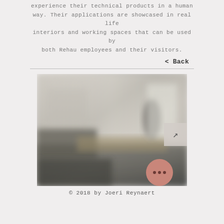experience their technical products in a human way. Their applications are showcased in real life interiors and working spaces that can be used by both Rehau employees and their visitors.
< Back
[Figure (photo): Blurred interior photo of a modern showroom or office space with furniture and display areas, monochromatic/desaturated tones.]
© 2018 by Joeri Reynaert